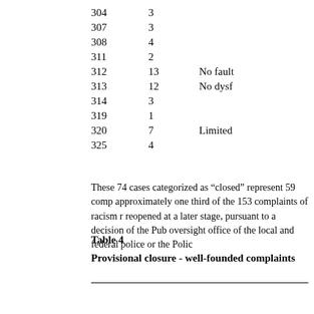| Category | No. | Note |
| --- | --- | --- |
| 304 | 3 |  |
| 307 | 3 |  |
| 308 | 4 |  |
| 311 | 2 |  |
| 312 | 13 | No fault |
| 313 | 12 | No dysf |
| 314 | 3 |  |
| 319 | 1 |  |
| 320 | 7 | Limited |
| 325 | 4 |  |
These 74 cases categorized as “closed” represent 59 comp approximately one third of the 153 complaints of racism r reopened at a later stage, pursuant to a decision of the Pub oversight office of the local and federal police or the Polic
Table 4
Provisional closure - well-founded complaints
| Category | No. |
| --- | --- |
| 401 | 4 |